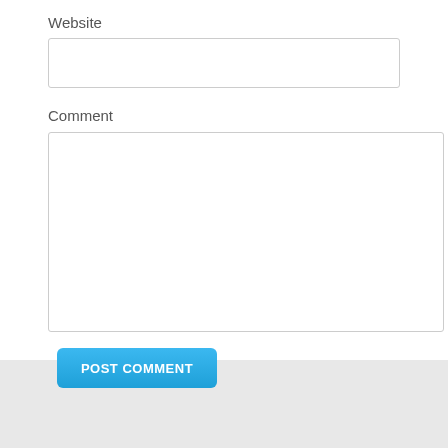Website
[Figure (screenshot): Website text input field — empty text box with rounded border]
Comment
[Figure (screenshot): Comment textarea — large empty text box with rounded border]
[Figure (screenshot): POST COMMENT button — blue rounded rectangle button with white bold uppercase text]